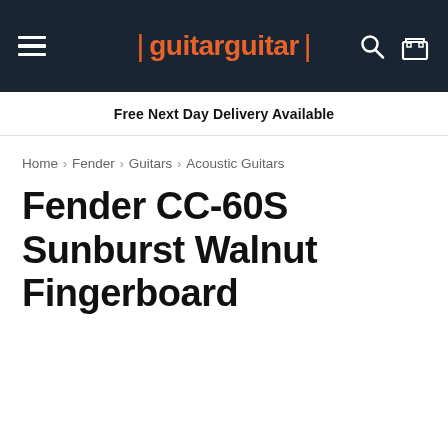guitarguitar
Free Next Day Delivery Available
Home > Fender > Guitars > Acoustic Guitars
Fender CC-60S Sunburst Walnut Fingerboard